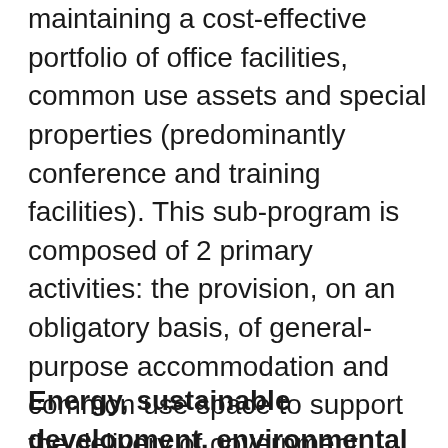maintaining a cost-effective portfolio of office facilities, common use assets and special properties (predominantly conference and training facilities). This sub-program is composed of 2 primary activities: the provision, on an obligatory basis, of general-purpose accommodation and common use space to support the delivery of government programs; and optimization of real property investments in direct support of the provision of accommodation.
Energy, sustainable development, environmental and health and safety